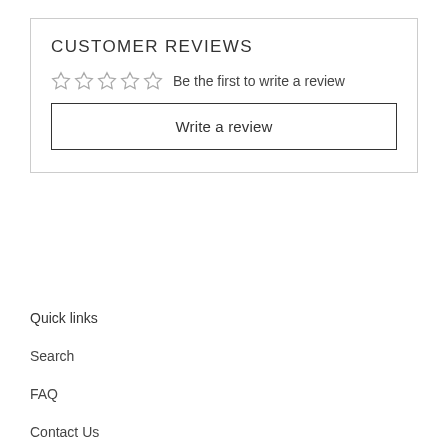CUSTOMER REVIEWS
☆☆☆☆☆ Be the first to write a review
Write a review
Quick links
Search
FAQ
Contact Us